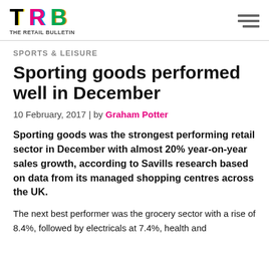TRB THE RETAIL BULLETIN
SPORTS & LEISURE
Sporting goods performed well in December
10 February, 2017 | by Graham Potter
Sporting goods was the strongest performing retail sector in December with almost 20% year-on-year sales growth, according to Savills research based on data from its managed shopping centres across the UK.
The next best performer was the grocery sector with a rise of 8.4%, followed by electricals at 7.4%, health and